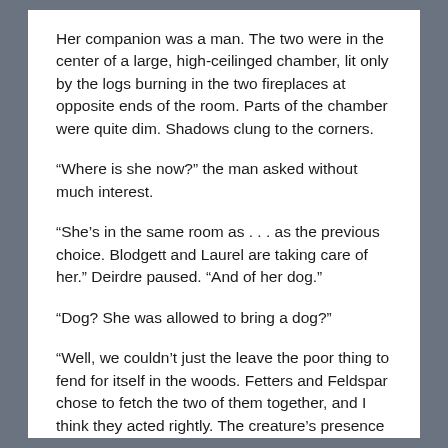Her companion was a man. The two were in the center of a large, high-ceilinged chamber, lit only by the logs burning in the two fireplaces at opposite ends of the room. Parts of the chamber were quite dim. Shadows clung to the corners.
“Where is she now?” the man asked without much interest.
“She’s in the same room as . . . as the previous choice. Blodgett and Laurel are taking care of her.” Deirdre paused. “And of her dog.”
“Dog? She was allowed to bring a dog?”
“Well, we couldn’t just the leave the poor thing to fend for itself in the woods. Fetters and Feldspar chose to fetch the two of them together, and I think they acted rightly. The creature’s presence